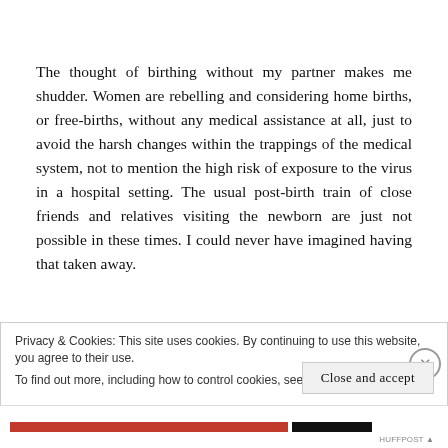The thought of birthing without my partner makes me shudder. Women are rebelling and considering home births, or free-births, without any medical assistance at all, just to avoid the harsh changes within the trappings of the medical system, not to mention the high risk of exposure to the virus in a hospital setting. The usual post-birth train of close friends and relatives visiting the newborn are just not possible in these times. I could never have imagined having that taken away.
Privacy & Cookies: This site uses cookies. By continuing to use this website, you agree to their use.
To find out more, including how to control cookies, see here: Cookie Policy
Close and accept